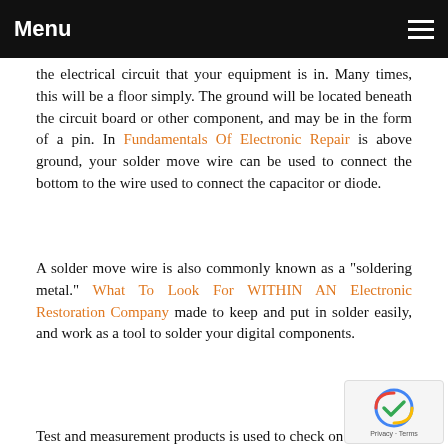Menu
the electrical circuit that your equipment is in. Many times, this will be a floor simply. The ground will be located beneath the circuit board or other component, and may be in the form of a pin. In Fundamentals Of Electronic Repair is above ground, your solder move wire can be used to connect the bottom to the wire used to connect the capacitor or diode.
A solder move wire is also commonly known as a "soldering metal." What To Look For WITHIN AN Electronic Restoration Company made to keep and put in solder easily, and work as a tool to solder your digital components.
Test and measurement products is used to check on the